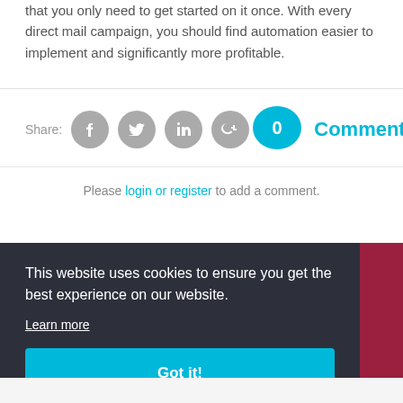that you only need to get started on it once. With every direct mail campaign, you should find automation easier to implement and significantly more profitable.
Share:
[Figure (infographic): Social share icons: Facebook, Twitter, LinkedIn, Google+, and a comment bubble showing 0 Comments]
Please login or register to add a comment.
This website uses cookies to ensure you get the best experience on our website. Learn more Got it!